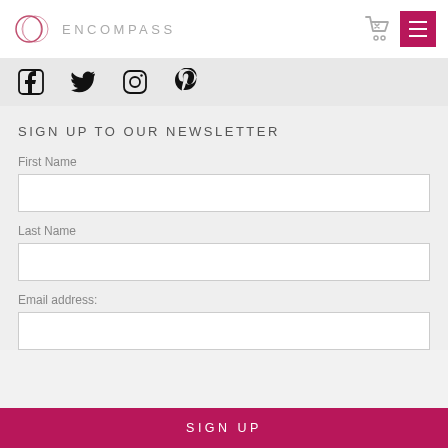ENCOMPASS
[Figure (logo): Encompass logo with circular overlapping rings and text ENCOMPASS]
[Figure (illustration): Social media icons: Facebook, Twitter, Instagram, Pinterest]
SIGN UP TO OUR NEWSLETTER
First Name
Last Name
Email address:
SIGN UP